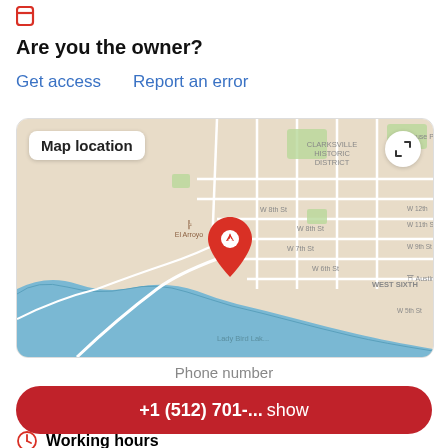[Figure (logo): Small red square/bookmark icon at top left]
Are you the owner?
Get access    Report an error
[Figure (map): Map showing location in Austin, TX area near Clarksville Historic District and West Sixth, with red location pin marker. Map label overlay reads 'Map location'. Expand icon in top right corner.]
Phone number
+1 (512) 701-... show
Working hours